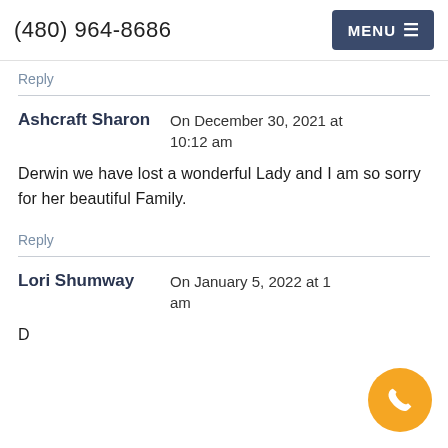(480) 964-8686  MENU
Reply
Ashcraft Sharon  On December 30, 2021 at 10:12 am
Derwin we have lost a wonderful Lady and I am so sorry for her beautiful Family.
Reply
Lori Shumway  On January 5, 2022 at 1[...] am
D[partial text continues off page]